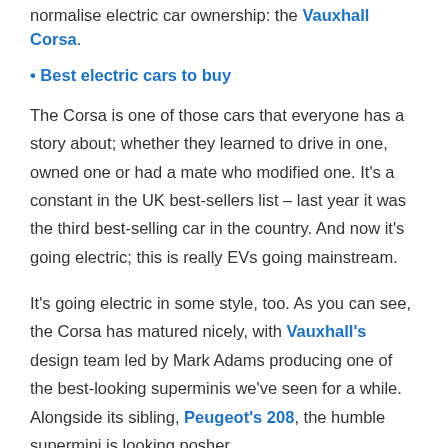normalise electric car ownership: the Vauxhall Corsa.
• Best electric cars to buy
The Corsa is one of those cars that everyone has a story about; whether they learned to drive in one, owned one or had a mate who modified one. It's a constant in the UK best-sellers list – last year it was the third best-selling car in the country. And now it's going electric; this is really EVs going mainstream.
It's going electric in some style, too. As you can see, the Corsa has matured nicely, with Vauxhall's design team led by Mark Adams producing one of the best-looking superminis we've seen for a while. Alongside its sibling, Peugeot's 208, the humble supermini is looking posher